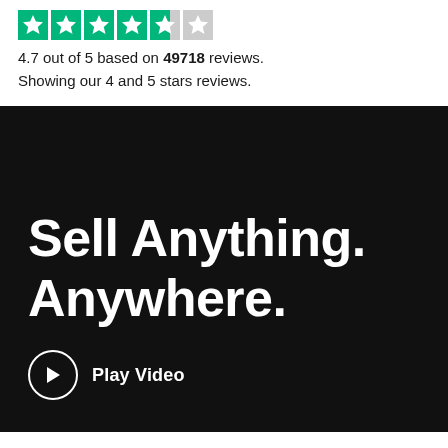[Figure (other): Star rating row: 4 full teal stars, 1 partial teal star, 1 grey star]
4.7 out of 5 based on 49718 reviews. Showing our 4 and 5 stars reviews.
Sell Anything. Anywhere.
Play Video